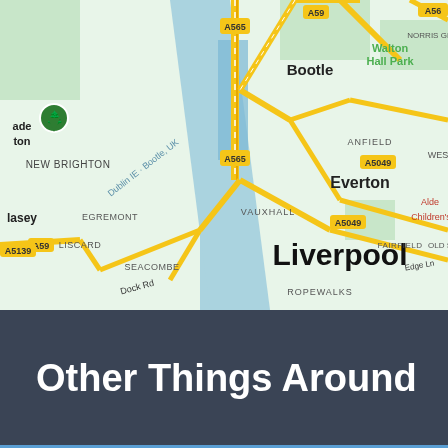[Figure (map): Google Maps view of Liverpool, UK and surrounding areas including Bootle, Everton, Vauxhall, Walton Hall Park, Anfield, New Brighton, Egremont, Liscard, Seacombe, Ropewalks, Fairfield. Shows road network with A565, A59, A5049, A5139 highlighted. River Mersey visible as blue water body between the Wirral and Liverpool.]
Other Things Around